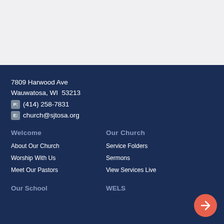7809 Harwood Ave
Wauwatosa, WI  53213
P: (414) 258-7831
E: church@sjtosa.org
Welcome
Our Church
About Our Church
Service Folders
Worship With Us
Sermons
Meet Our Pastors
View Services Live
Our School
WELS